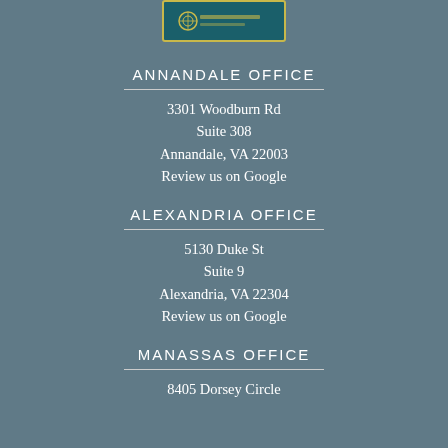[Figure (logo): Company logo with teal background and gold border]
ANNANDALE OFFICE
3301 Woodburn Rd
Suite 308
Annandale, VA 22003
Review us on Google
ALEXANDRIA OFFICE
5130 Duke St
Suite 9
Alexandria, VA 22304
Review us on Google
MANASSAS OFFICE
8405 Dorsey Circle